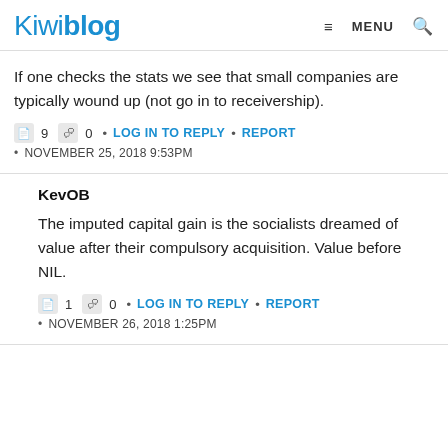Kiwiblog | MENU 🔍
If one checks the stats we see that small companies are typically wound up (not go in to receivership).
🗒 9 💬 0 • LOG IN TO REPLY • REPORT
• NOVEMBER 25, 2018 9:53PM
KevOB
The imputed capital gain is the socialists dreamed of value after their compulsory acquisition. Value before NIL.
🗒 1 💬 0 • LOG IN TO REPLY • REPORT
• NOVEMBER 26, 2018 1:25PM